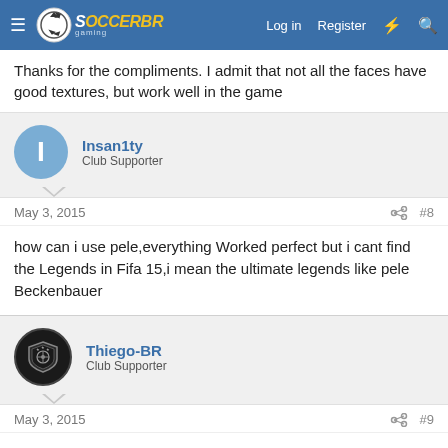SoccerGaming — Log in  Register
Thanks for the compliments. I admit that not all the faces have good textures, but work well in the game
Insan1ty
Club Supporter
May 3, 2015  #8
how can i use pele,everything Worked perfect but i cant find the Legends in Fifa 15,i mean the ultimate legends like pele Beckenbauer
Thiego-BR
Club Supporter
May 3, 2015  #9
Parabéns pelo trabalho BANDO80 e sua equipe